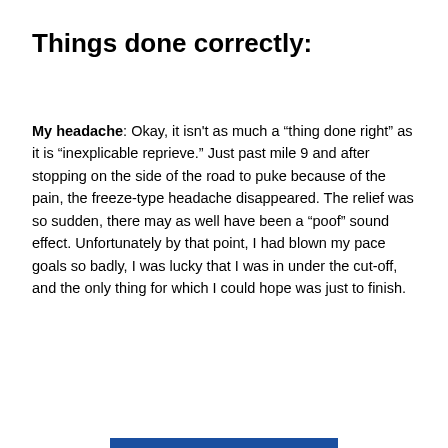Things done correctly:
My headache: Okay, it isn’t as much a “thing done right” as it is “inexplicable reprieve.” Just past mile 9 and after stopping on the side of the road to puke because of the pain, the freeze-type headache disappeared. The relief was so sudden, there may as well have been a “poof” sound effect. Unfortunately by that point, I had blown my pace goals so badly, I was lucky that I was in under the cut-off, and the only thing for which I could hope was just to finish.